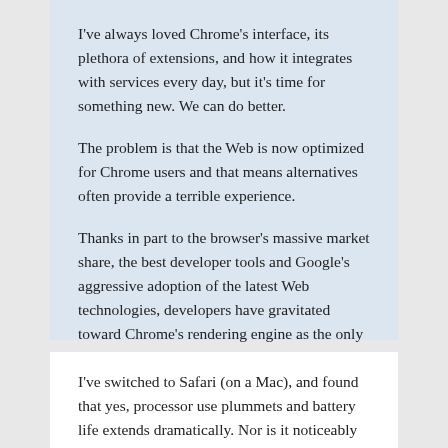I've always loved Chrome's interface, its plethora of extensions, and how it integrates with services every day, but it's time for something new. We can do better.
The problem is that the Web is now optimized for Chrome users and that means alternatives often provide a terrible experience.
Thanks in part to the browser's massive market share, the best developer tools and Google's aggressive adoption of the latest Web technologies, developers have gravitated toward Chrome's rendering engine as the only one they support.
I've switched to Safari (on a Mac), and found that yes, processor use plummets and battery life extends dramatically. Nor is it noticeably slower (or